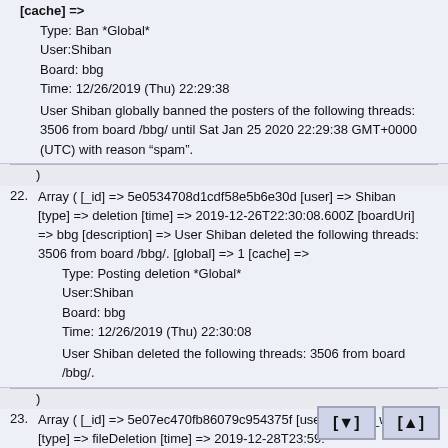[cache] =>
  Type: Ban *Global*
  User:Shiban
  Board: bbg
  Time: 12/26/2019 (Thu) 22:29:38
  User Shiban globally banned the posters of the following threads: 3506 from board /bbg/ until Sat Jan 25 2020 22:29:38 GMT+0000 (UTC) with reason "spam".
)
22. Array ( [_id] => 5e0534708d1cdf58e5b6e30d [user] => Shiban [type] => deletion [time] => 2019-12-26T22:30:08.600Z [boardUri] => bbg [description] => User Shiban deleted the following threads: 3506 from board /bbg/. [global] => 1 [cache] =>
  Type: Posting deletion *Global*
  User:Shiban
  Board: bbg
  Time: 12/26/2019 (Thu) 22:30:08
  User Shiban deleted the following threads: 3506 from board /bbg/.
)
23. Array ( [_id] => 5e07ec470fb86079c954375f [user] => finn_wsg [type] => fileDeletion [time] => 2019-12-28T23:59: [boardUri] => bbg [description] => User finn_wsg d of the following threads: 3712 from board /bbg/. [g [cache] =>